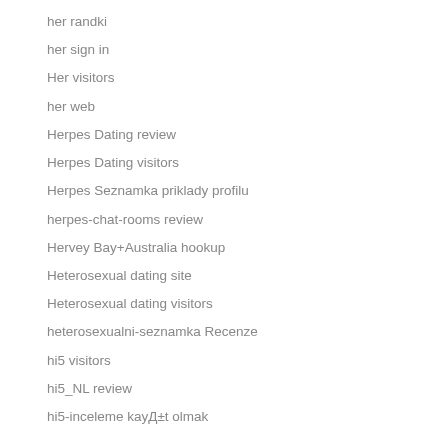her randki
her sign in
Her visitors
her web
Herpes Dating review
Herpes Dating visitors
Herpes Seznamka priklady profilu
herpes-chat-rooms review
Hervey Bay+Australia hookup
Heterosexual dating site
Heterosexual dating visitors
heterosexualni-seznamka Recenze
hi5 visitors
hi5_NL review
hi5-inceleme kayД±t olmak